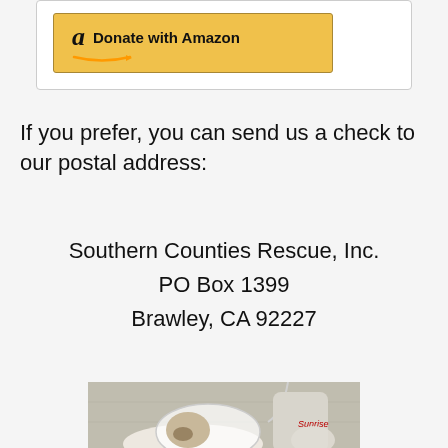[Figure (other): Amazon 'Donate with Amazon' button inside a white rounded box]
If you prefer, you can send us a check to our postal address:
Southern Counties Rescue, Inc.
PO Box 1399
Brawley, CA 92227
[Figure (photo): Photo of a cat with a white cone (Elizabethan collar) around its neck, lying on a surface, with a tube/IV line visible, and a gloved hand in the background. Medical/veterinary setting.]